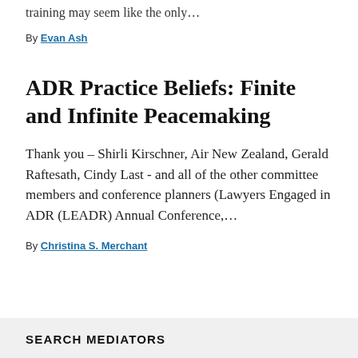training may seem like the only…
By Evan Ash
ADR Practice Beliefs: Finite and Infinite Peacemaking
Thank you – Shirli Kirschner, Air New Zealand, Gerald Raftesath, Cindy Last - and all of the other committee members and conference planners (Lawyers Engaged in ADR (LEADR) Annual Conference,…
By Christina S. Merchant
SEARCH MEDIATORS